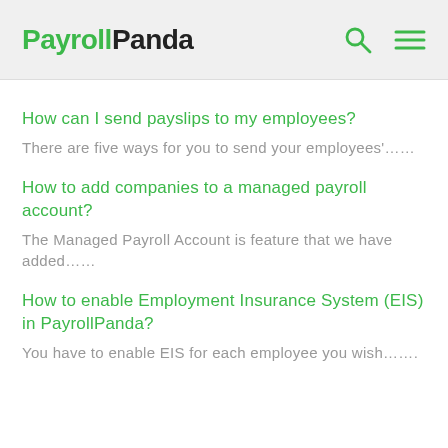PayrollPanda
How can I send payslips to my employees?
There are five ways for you to send your employees'……
How to add companies to a managed payroll account?
The Managed Payroll Account is feature that we have added……
How to enable Employment Insurance System (EIS) in PayrollPanda?
You have to enable EIS for each employee you wish…….